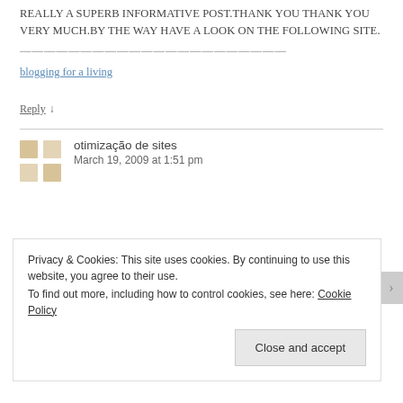REALLY A SUPERB INFORMATIVE POST.THANK YOU THANK YOU VERY MUCH.BY THE WAY HAVE A LOOK ON THE FOLLOWING SITE.
——————————————————————
blogging for a living
Reply ↓
otimização de sites
March 19, 2009 at 1:51 pm
Privacy & Cookies: This site uses cookies. By continuing to use this website, you agree to their use.
To find out more, including how to control cookies, see here: Cookie Policy
Close and accept